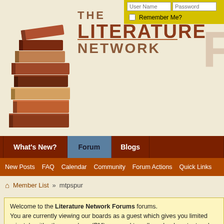[Figure (screenshot): The Literature Network Forums website header with stacked books logo, login fields for User Name and Password, Remember Me checkbox, navigation bars with What's New?, Forum (active), Blogs tabs, and sub-navigation with New Posts, FAQ, Calendar, Community, Forum Actions, Quick Links]
Member List  mtpspur
Welcome to the Literature Network Forums forums. You are currently viewing our boards as a guest which gives you limited access our other features. By joining our free community you will have access to post topics, communicate privately with other members (PM), respond to polls, upload content and access many other special features. Registration is fast, simple and absolutely free so please, join our community today! If you have any problems with the registration process or your account login,